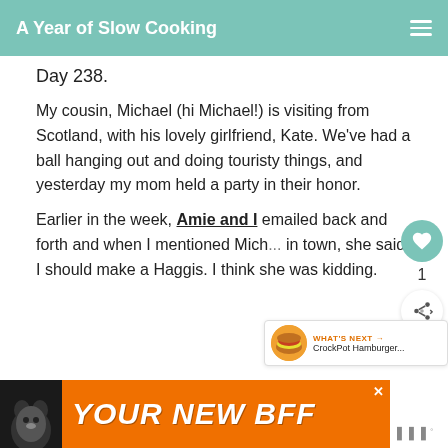A Year of Slow Cooking
Day 238.
My cousin, Michael (hi Michael!) is visiting from Scotland, with his lovely girlfriend, Kate. We've had a ball hanging out and doing touristy things, and yesterday my mom held a party in their honor.
Earlier in the week, Amie and I emailed back and forth and when I mentioned Mich... in town, she said I should make a Haggis. I think she was kidding.
[Figure (screenshot): Advertisement banner: orange background with dog image and text 'YOUR NEW BFF']